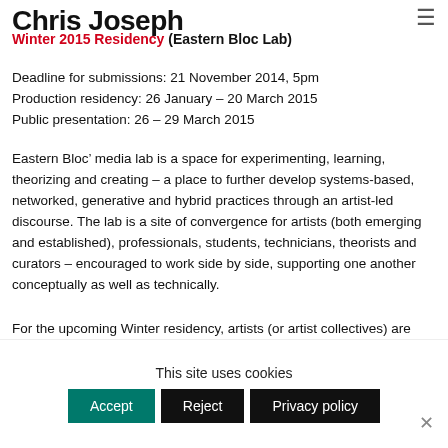Chris Joseph
Winter 2015 Residency (Eastern Bloc Lab)
Deadline for submissions: 21 November 2014, 5pm
Production residency: 26 January – 20 March 2015
Public presentation: 26 – 29 March 2015
Eastern Bloc' media lab is a space for experimenting, learning, theorizing and creating – a place to further develop systems-based, networked, generative and hybrid practices through an artist-led discourse. The lab is a site of convergence for artists (both emerging and established), professionals, students, technicians, theorists and curators – encouraged to work side by side, supporting one another conceptually as well as technically.
For the upcoming Winter residency, artists (or artist collectives) are asked to submit a project in one or more of the following
This site uses cookies
Accept  Reject  Privacy policy